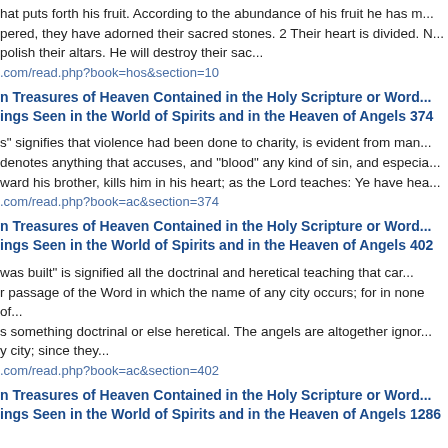hat puts forth his fruit. According to the abundance of his fruit he has m... pered, they have adorned their sacred stones. 2 Their heart is divided. N... polish their altars. He will destroy their sac...
.com/read.php?book=hos&section=10
n Treasures of Heaven Contained in the Holy Scripture or Word... ings Seen in the World of Spirits and in the Heaven of Angels 374
s" signifies that violence had been done to charity, is evident from man... denotes anything that accuses, and "blood" any kind of sin, and especia... ward his brother, kills him in his heart; as the Lord teaches: Ye have hea...
.com/read.php?book=ac&section=374
n Treasures of Heaven Contained in the Holy Scripture or Word... ings Seen in the World of Spirits and in the Heaven of Angels 402
was built" is signified all the doctrinal and heretical teaching that car... r passage of the Word in which the name of any city occurs; for in none of... s something doctrinal or else heretical. The angels are altogether ignor... y city; since they...
.com/read.php?book=ac&section=402
n Treasures of Heaven Contained in the Holy Scripture or Word... ings Seen in the World of Spirits and in the Heaven of Angels 1286